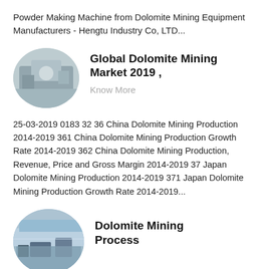Powder Making Machine from Dolomite Mining Equipment Manufacturers - Hengtu Industry Co, LTD...
[Figure (photo): Circular thumbnail image of industrial mining equipment, gray tones]
Global Dolomite Mining Market 2019 ,
Know More
25-03-2019 0183 32 36 China Dolomite Mining Production 2014-2019 361 China Dolomite Mining Production Growth Rate 2014-2019 362 China Dolomite Mining Production, Revenue, Price and Gross Margin 2014-2019 37 Japan Dolomite Mining Production 2014-2019 371 Japan Dolomite Mining Production Growth Rate 2014-2019 371 Japan Dolomite Mining Production Growth Rate 2014-2019...
[Figure (photo): Circular thumbnail image of dolomite mining site with machinery and sky]
Dolomite Mining Process